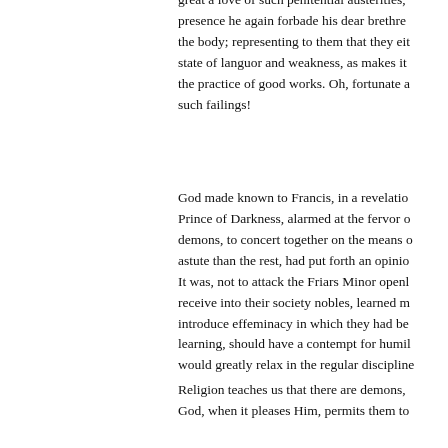great a love of such penitential austerities, presence he again forbade his dear brethren the body; representing to them that they eit state of languor and weakness, as makes it the practice of good works. Oh, fortunate a such failings!
God made known to Francis, in a revelation, Prince of Darkness, alarmed at the fervor o demons, to concert together on the means o astute than the rest, had put forth an opinio It was, not to attack the Friars Minor openl receive into their society nobles, learned m introduce effeminacy in which they had be learning, should have a contempt for humil would greatly relax in the regular discipline
Religion teaches us that there are demons, God, when it pleases Him, permits them to